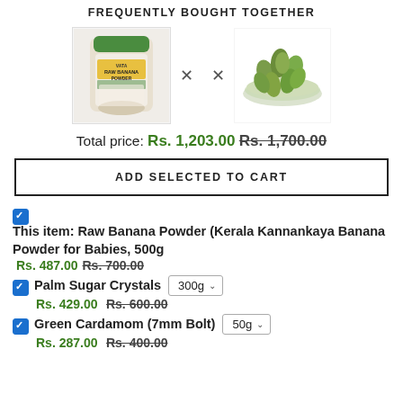FREQUENTLY BOUGHT TOGETHER
[Figure (photo): Product image of Raw Banana Powder jar with green lid and yellow label]
[Figure (photo): Bowl of green cardamom pods]
Total price: Rs. 1,203.00 Rs. 1,700.00
ADD SELECTED TO CART
This item: Raw Banana Powder (Kerala Kannankaya Banana Powder for Babies, 500g Rs. 487.00 Rs. 700.00
Palm Sugar Crystals 300g Rs. 429.00 Rs. 600.00
Green Cardamom (7mm Bolt) 50g Rs. 287.00 Rs. 400.00